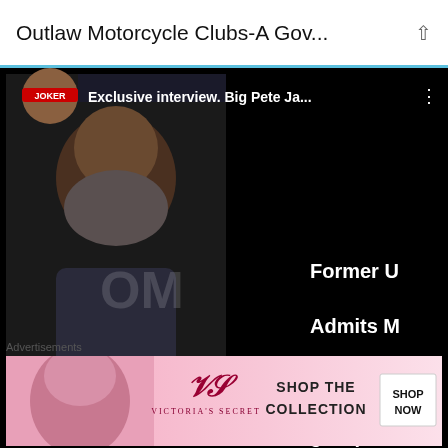Outlaw Motorcycle Clubs-A Gov...
[Figure (screenshot): YouTube video embed showing 'Exclusive interview. Big Pete Ja...' with a thumbnail of an older bearded man, overlaid text about Chicago Hoax, help from ex agent, former club, Former U Admits M organized group, this during around c, Former Und, with a YouTube play button in the center]
Advertisements
[Figure (screenshot): Victoria's Secret advertisement banner with pink background, VS logo, text 'SHOP THE COLLECTION' and a white 'SHOP NOW' button]